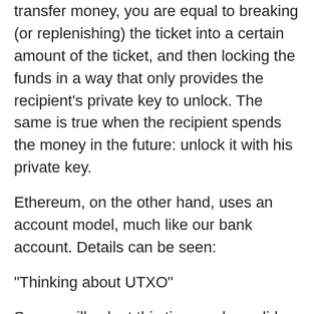transfer money, you are equal to breaking (or replenishing) the ticket into a certain amount of the ticket, and then locking the funds in a way that only provides the recipient's private key to unlock. The same is true when the recipient spends the money in the future: unlock it with his private key.
Ethereum, on the other hand, uses an account model, much like our bank account. Details can be seen:
"Thinking about UTXO"
So, we will ask at this time – where did Bitcoin originally come from?
As a way to balance Bitcoin deflation characteristics (this feature is caused by software errors and wallet password loss), whenever people solve a block math problem, they will be rewarded accordingly. This kind of behavior of